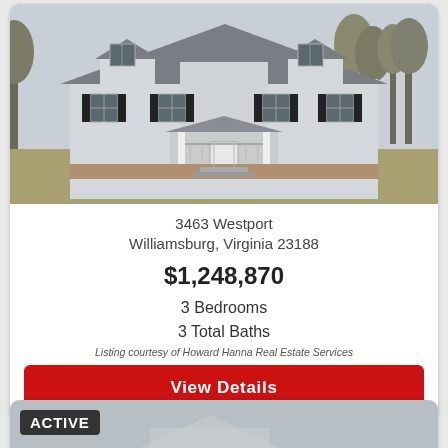[Figure (photo): Exterior photo of a light gray craftsman-style house with black shutters, covered porch with columns, and a muted grass yard in winter]
3463 Westport
Williamsburg, Virginia 23188
$1,248,870
3 Bedrooms
3 Total Baths
Listing courtesy of Howard Hanna Real Estate Services
View Details
ACTIVE